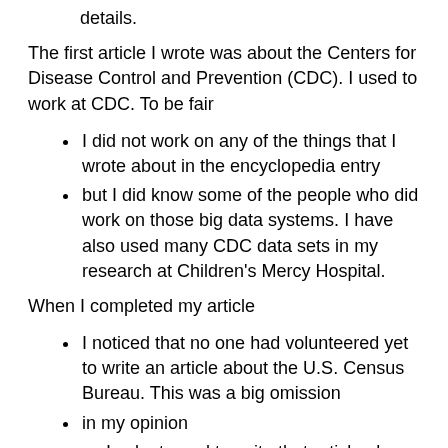details.
The first article I wrote was about the Centers for Disease Control and Prevention (CDC). I used to work at CDC. To be fair
I did not work on any of the things that I wrote about in the encyclopedia entry
but I did know some of the people who did work on those big data systems. I have also used many CDC data sets in my research at Children's Mercy Hospital.
When I completed my article
I noticed that no one had volunteered yet to write an article about the U.S. Census Bureau. This was a big omission
in my opinion
so I volunteered to write that article also. There are